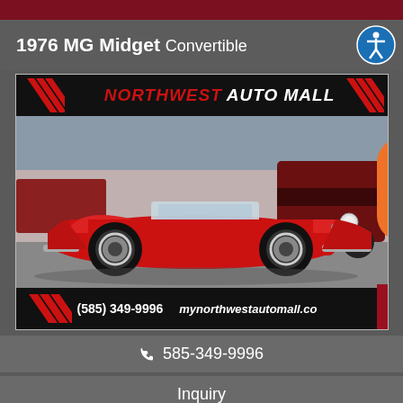1976 MG Midget Convertible
[Figure (photo): Red 1976 MG Midget convertible sports car parked at Northwest Auto Mall dealership lot, with dealer banner overhead showing NORTHWEST AUTO MALL, phone number (585) 349-9996 and website mynorthwestautomall.com]
585-349-9996
Inquiry